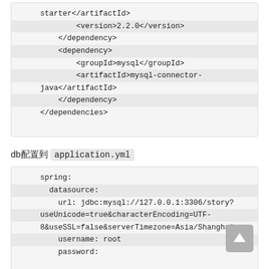starter</artifactId>
            <version>2.2.0</version>
        </dependency>
        <dependency>
            <groupId>mysql</groupId>
            <artifactId>mysql-connector-java</artifactId>
        </dependency>
    </dependencies>
db配置到 application.yml
spring:
  datasource:
    url: jdbc:mysql://127.0.0.1:3306/story?useUnicode=true&characterEncoding=UTF-8&useSSL=false&serverTimezone=Asia/Shanghai
    username: root
    password: